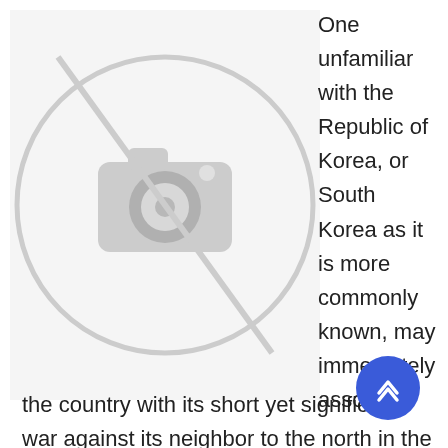[Figure (photo): Placeholder image icon: a grey circle with a camera icon inside and a diagonal line across it, indicating a missing or unavailable image.]
One unfamiliar with the Republic of Korea, or South Korea as it is more commonly known, may immediately associate the country with its short yet significant war against its neighbor to the north in the 1950s. A strategy analyst may spend time analyzing a client's performance in a particular industry by determining how much traffic the client's